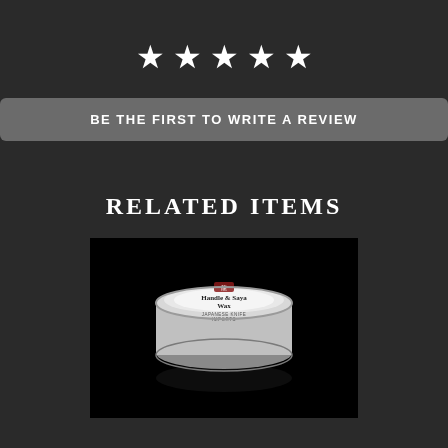[Figure (illustration): Five white star rating icons arranged horizontally]
BE THE FIRST TO WRITE A REVIEW
RELATED ITEMS
[Figure (photo): Product photo of a round tin labeled 'Handle & Saya Wax' by Japanese Knife Imports, on a black background]